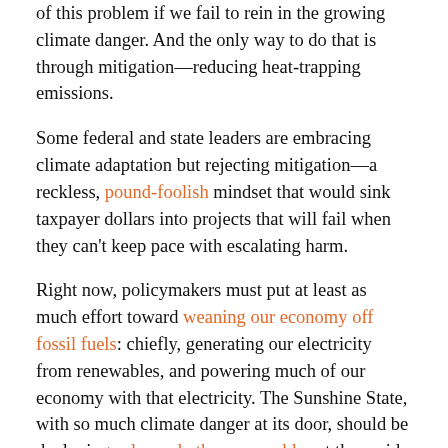of this problem if we fail to rein in the growing climate danger. And the only way to do that is through mitigation—reducing heat-trapping emissions.
Some federal and state leaders are embracing climate adaptation but rejecting mitigation—a reckless, pound-foolish mindset that would sink taxpayer dollars into projects that will fail when they can't keep pace with escalating harm.
Right now, policymakers must put at least as much effort toward weaning our economy off fossil fuels: chiefly, generating our electricity from renewables, and powering much of our economy with that electricity. The Sunshine State, with so much climate danger at its door, should be deploying solar and other renewables at the rapid pace Floridians want.
If we take these types of actions locally, nationally, globally